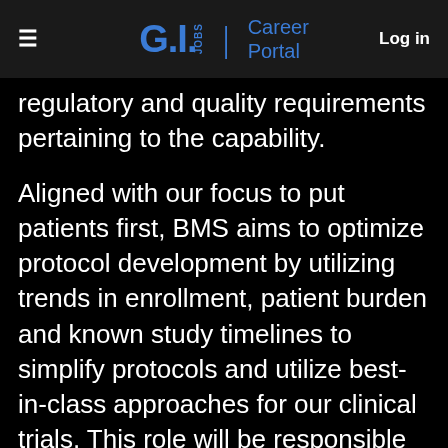G.I. Jobs | Career Portal   Log in
regulatory and quality requirements pertaining to the capability.
Aligned with our focus to put patients first, BMS aims to optimize protocol development by utilizing trends in enrollment, patient burden and known study timelines to simplify protocols and utilize best-in-class approaches for our clinical trials. This role will be responsible in consolidating the vision of the Digital Data Flow in digitizing the clinical trial build, simplifying protocols, enabling